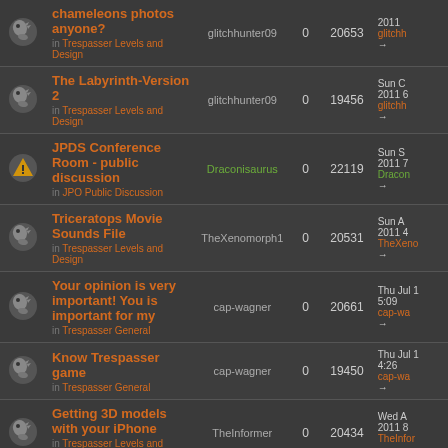| Icon | Topic | Author | Replies | Views | Last Post |
| --- | --- | --- | --- | --- | --- |
| [dino icon] | Chameleons photos anyone? in Trespasser Levels and Design | glitchhunter09 | 0 | 20653 | 2011 glitchhunter09 → |
| [dino icon] | The Labyrinth-Version 2 in Trespasser Levels and Design | glitchhunter09 | 0 | 19456 | Sun C 2011 6 glitchhunter09 → |
| [alert icon] | JPDS Conference Room - public discussion in JPO Public Discussion | Draconisaurus | 0 | 22119 | Sun S 2011 7 Draconisaurus → |
| [dino icon] | Triceratops Movie Sounds File in Trespasser Levels and Design | TheXenomorph1 | 0 | 20531 | Sun A 2011 4 TheXeno → |
| [dino icon] | Your opinion is very important! You is important for my in Trespasser General | cap-wagner | 0 | 20661 | Thu Jul 1 5:09 cap-wa → |
| [dino icon] | Know Trespasser game in Trespasser General | cap-wagner | 0 | 19450 | Thu Jul 1 4:26 cap-wa → |
| [dino icon] | Getting 3D models with your iPhone in Trespasser Levels and Design | TheInformer | 0 | 20434 | Wed A 2011 8 TheInfor → |
| [dino icon] | Chapter 2 |  |  |  | Mon M → |